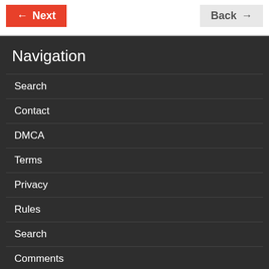Next | Back
Navigation
Search
Contact
DMCA
Terms
Privacy
Rules
Search
Comments
All the latest news
Become VIP